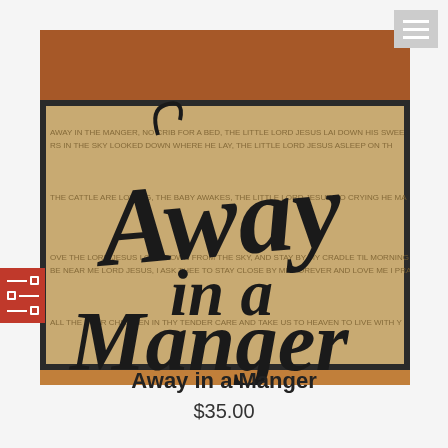[Figure (photo): A decorative wooden sign featuring large black script text reading 'Away in a Manger' overlaid on a tan/kraft paper background with smaller handwritten text of the full 'Away in a Manger' carol lyrics. The sign has a dark metal frame border and rests on a reddish-orange fabric background.]
Away in a Manger
$35.00